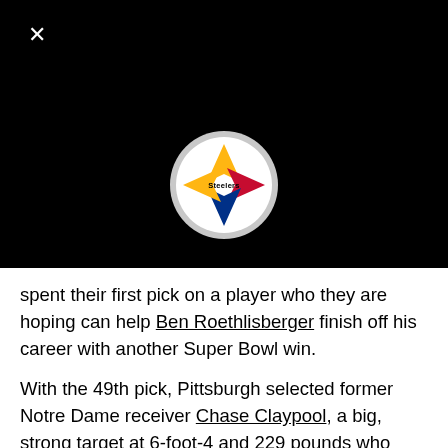[Figure (logo): Pittsburgh Steelers logo — circular gray border, white background, with the Steelers diamond/hypocycloid shape in yellow, red, and blue, and the word 'Steelers' in the center]
spent their first pick on a player who they are hoping can help Ben Roethlisberger finish off his career with another Super Bowl win.
With the 49th pick, Pittsburgh selected former Notre Dame receiver Chase Claypool, a big, strong target at 6-foot-4 and 229 pounds who caught 13 touchdowns during his final season with the